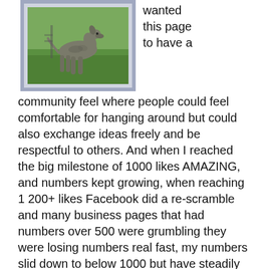[Figure (photo): A dog standing on green grass, photographed outdoors. The image is framed with a grayish-blue border.]
wanted this page to have a community feel where people could feel comfortable for hanging around but could also exchange ideas freely and be respectful to others. And when I reached the big milestone of 1000 likes AMAZING, and numbers kept growing, when reaching 1200+ likes Facebook did a re-scramble and many business pages that had numbers over 500 were grumbling they were losing numbers real fast, my numbers slid down to below 1000 but have steadily risen since then, numbers of likes are now approaching 1,800 AND SOME WEEKS I have 23,000+ visits to the page (the number of times the page has been visited in one week) and the page has held the community activity due to exchanges of ideas & sharing.